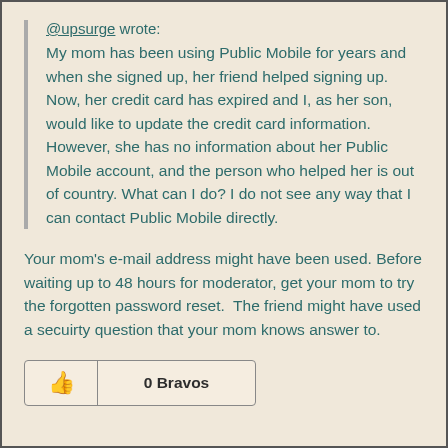@upsurge wrote:
My mom has been using Public Mobile for years and when she signed up, her friend helped signing up. Now, her credit card has expired and I, as her son, would like to update the credit card information. However, she has no information about her Public Mobile account, and the person who helped her is out of country. What can I do? I do not see any way that I can contact Public Mobile directly.
Your mom's e-mail address might have been used. Before waiting up to 48 hours for moderator, get your mom to try the forgotten password reset.  The friend might have used a secuirty question that your mom knows answer to.
0 Bravos